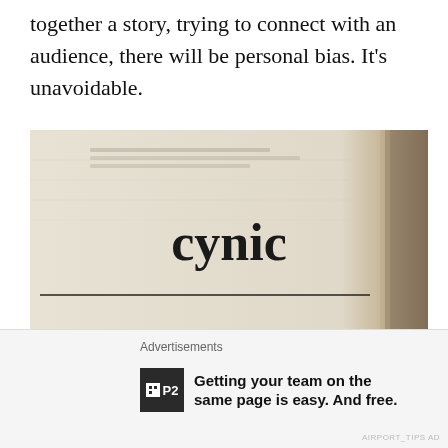together a story, trying to connect with an audience, there will be personal bias. It's unavoidable.
[Figure (photo): Close-up photograph of a dictionary page showing the word 'cynic' in bold serif typeface]
After many heartaches, frustrations, and yes, actual tears shed…I've given up on receiving flattery entirely. I've given up on the notion of kind words, nice language, and friendly exchange. This is especially true in the new world of COVID, where many people work remotely, and there's a heightened sense of edginess, too. It could be that people
Advertisements
Getting your team on the same page is easy. And free.